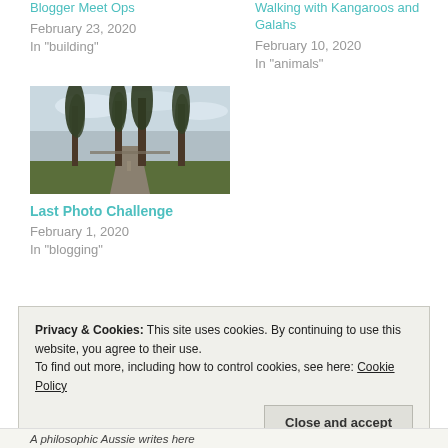Blogger Meet Ops
February 23, 2020
In "building"
Walking with Kangaroos and Galahs
February 10, 2020
In "animals"
[Figure (photo): A path lined with tall pine trees under a cloudy sky]
Last Photo Challenge
February 1, 2020
In "blogging"
Privacy & Cookies: This site uses cookies. By continuing to use this website, you agree to their use.
To find out more, including how to control cookies, see here: Cookie Policy
Close and accept
A philosophic Aussie writes here